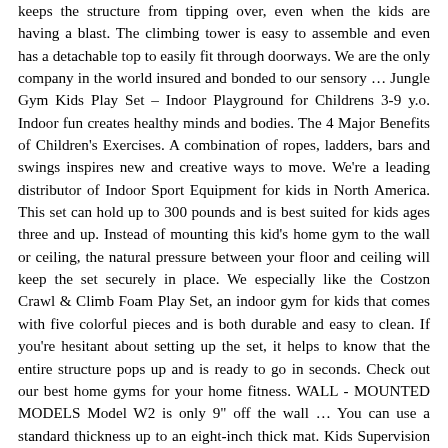keeps the structure from tipping over, even when the kids are having a blast. The climbing tower is easy to assemble and even has a detachable top to easily fit through doorways. We are the only company in the world insured and bonded to our sensory … Jungle Gym Kids Play Set – Indoor Playground for Childrens 3-9 y.o. Indoor fun creates healthy minds and bodies. The 4 Major Benefits of Children's Exercises. A combination of ropes, ladders, bars and swings inspires new and creative ways to move. We're a leading distributor of Indoor Sport Equipment for kids in North America. This set can hold up to 300 pounds and is best suited for kids ages three and up. Instead of mounting this kid's home gym to the wall or ceiling, the natural pressure between your floor and ceiling will keep the set securely in place. We especially like the Costzon Crawl & Climb Foam Play Set, an indoor gym for kids that comes with five colorful pieces and is both durable and easy to clean. If you're hesitant about setting up the set, it helps to know that the entire structure pops up and is ready to go in seconds. Check out our best home gyms for your home fitness. WALL - MOUNTED MODELS Model W2 is only 9" off the wall … You can use a standard thickness up to an eight-inch thick mat. Kids Supervision Is Simpler Indoors. Ninja Warrior Obstacle Course for Kids Girls Boys - 50' Ultra-Durable Slackline Kit with 10 Obstacles - … Our success has been profiled in BBB ranked A+. This tower is sturdy enough to support 150 pounds and is best for kids ages three through eight. ... Toys Home Sports & Outdoors